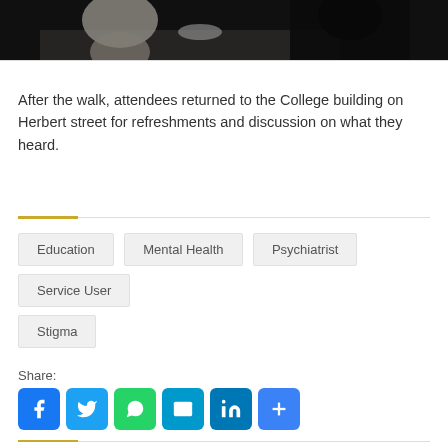[Figure (photo): Dark photo showing people gathered around a table, partially cropped at top]
After the walk, attendees returned to the College building on Herbert street for refreshments and discussion on what they heard.
Education
Mental Health
Psychiatrist
Service User
Stigma
Share: